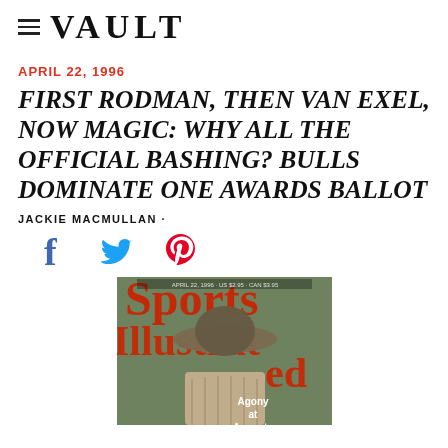VAULT
APRIL 22, 1996
FIRST RODMAN, THEN VAN EXEL, NOW MAGIC: WHY ALL THE OFFICIAL BASHING? BULLS DOMINATE ONE AWARDS BALLOT
JACKIE MACMULLAN ·
[Figure (infographic): Social sharing icons: Facebook (f), Twitter (bird), Pinterest (P) in blue and red colors]
[Figure (photo): Sports Illustrated magazine cover showing a person wearing a wide-brim hat and patterned sweater, with text 'Agony at Augusta' visible]